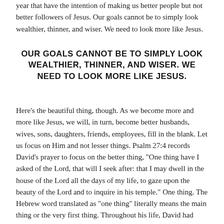year that have the intention of making us better people but not better followers of Jesus. Our goals cannot be to simply look wealthier, thinner, and wiser. We need to look more like Jesus.
OUR GOALS CANNOT BE TO SIMPLY LOOK WEALTHIER, THINNER, AND WISER. WE NEED TO LOOK MORE LIKE JESUS.
Here's the beautiful thing, though. As we become more and more like Jesus, we will, in turn, become better husbands, wives, sons, daughters, friends, employees, fill in the blank. Let us focus on Him and not lesser things. Psalm 27:4 records David's prayer to focus on the better thing, "One thing have I asked of the Lord, that will I seek after: that I may dwell in the house of the Lord all the days of my life, to gaze upon the beauty of the Lord and to inquire in his temple." One thing. The Hebrew word translated as "one thing" literally means the main thing or the very first thing. Throughout his life, David had certainly asked for many different things, but in this passage,